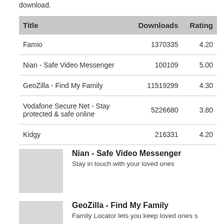download.
| Title | Downloads | Rating |
| --- | --- | --- |
| Famio | 1370335 | 4.20 |
| Nian - Safe Video Messenger | 100109 | 5.00 |
| GeoZilla - Find My Family | 11519299 | 4.30 |
| Vodafone Secure Net - Stay protected & safe online | 5226680 | 3.80 |
| Kidgy | 216331 | 4.20 |
[Figure (illustration): App icon placeholder for Nian - Safe Video Messenger]
Nian - Safe Video Messenger
Stay in touch with your loved ones
[Figure (illustration): App icon placeholder for GeoZilla - Find My Family]
GeoZilla - Find My Family
Family Locator lets you keep loved ones s